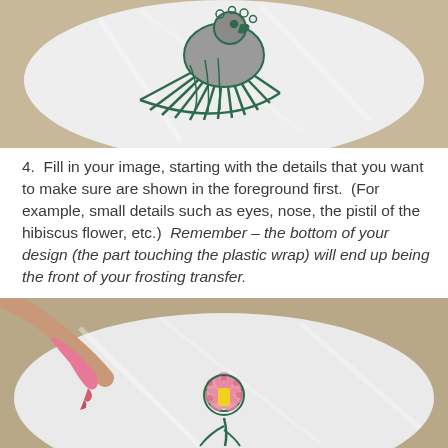[Figure (photo): A white plate wrapped in plastic wrap with a dark green outline drawing of a bird/parrot with feathers, viewed from above on a granite countertop.]
4.  Fill in your image, starting with the details that you want to make sure are shown in the foreground first.  (For example, small details such as eyes, nose, the pistil of the hibiscus flower, etc.)  Remember – the bottom of your design (the part touching the plastic wrap) will end up being the front of your frosting transfer.
[Figure (photo): A hand holding a pink piping bag, adding pink frosting to a small hibiscus flower design outlined in dark green on plastic wrap over a white plate on a granite countertop. A yellow center is visible on the flower.]